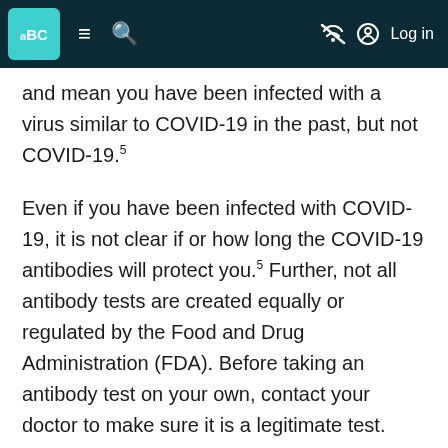aBC [navigation bar with menu, search, and Log in icons]
and mean you have been infected with a virus similar to COVID-19 in the past, but not COVID-19.5
Even if you have been infected with COVID-19, it is not clear if or how long the COVID-19 antibodies will protect you.5 Further, not all antibody tests are created equally or regulated by the Food and Drug Administration (FDA). Before taking an antibody test on your own, contact your doctor to make sure it is a legitimate test.
Reopening Plans